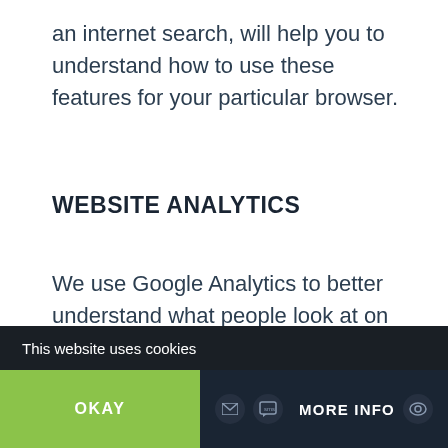an internet search, will help you to understand how to use these features for your particular browser.
WEBSITE ANALYTICS
We use Google Analytics to better understand what people look at on our website.
This website uses cookies  |  OKAY  |  MORE INFO